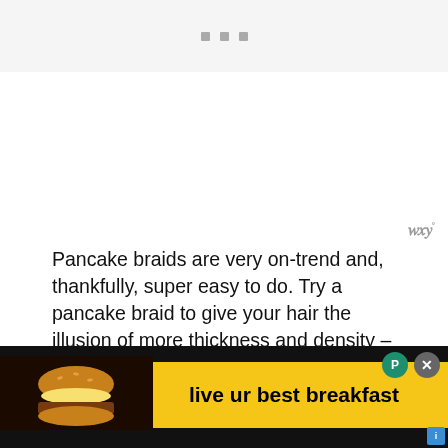[Figure (other): Top placeholder ad area with three gray square dots]
[Figure (logo): Watermark logo resembling stylized W with degree symbol, gray color, top right]
Pancake braids are very on-trend and, thankfully, super easy to do. Try a pancake braid to give your hair the illusion of more thickness and density – it also keeps a French braid from looking too severe.
[Figure (other): Heart icon button (teal/dark blue circle with white heart)]
[Figure (other): Share icon button (white circle with share symbol and plus)]
Once you've created your basic French braid and have secured it with an elastic, you're going to do some tugging to create the fullness and volume boost... bottom...
[Figure (other): What's Next overlay card: photo of person with afro hair, text 'WHAT'S NEXT → Twist Out Hairstyle |...']
[Figure (other): Bottom advertisement banner: yellow background with 'live ur best breakfast' text and food image, black background, close and P buttons]